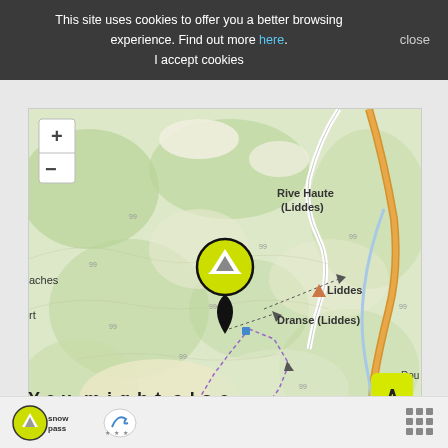This site uses cookies to offer you a better browsing experience. Find out more here. I accept cookies  close
[Figure (map): Topographic map showing area around Liddes and Dranse (Liddes) in Switzerland/Alps. Features mountain terrain with green valleys, a location pin marker with yellow-green snowpass logo, zoom in/out controls, dashed trail lines, a white road route, and an orange road labeled Rou. Place names visible: Rive Haute (Liddes), Liddes, Dranse (Liddes), aches, rt, Le Thion area at bottom.]
You might also ...